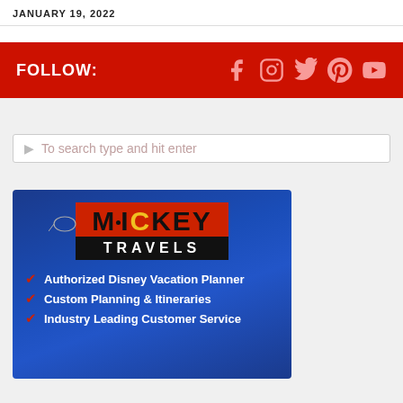JANUARY 19, 2022
FOLLOW:
[Figure (infographic): Red banner with FOLLOW: label and social media icons: Facebook, Instagram, Twitter, Pinterest, YouTube]
To search type and hit enter
[Figure (logo): Mickey Travels advertisement - Authorized Disney Vacation Planner, Custom Planning & Itineraries, Industry Leading Customer Service]